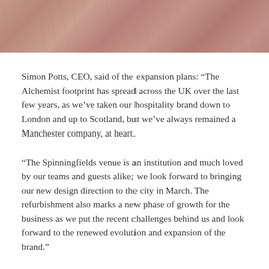[Figure (photo): Close-up photo of skin texture with pinkish-brown tone, shown as a horizontal strip at the top of the page.]
Simon Potts, CEO, said of the expansion plans: “The Alchemist footprint has spread across the UK over the last few years, as we’ve taken our hospitality brand down to London and up to Scotland, but we’ve always remained a Manchester company, at heart.
“The Spinningfields venue is an institution and much loved by our teams and guests alike; we look forward to bringing our new design direction to the city in March. The refurbishment also marks a new phase of growth for the business as we put the recent challenges behind us and look forward to the renewed evolution and expansion of the brand.”